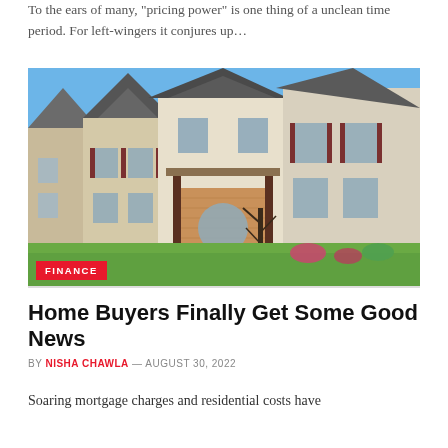To the ears of many, "pricing power" is one thing of a unclean time period. For left-wingers it conjures up…
[Figure (photo): Exterior photo of a row of suburban townhomes/houses with brick and siding facades under a clear blue sky, with a lawn in the foreground. A red FINANCE category badge overlays the bottom-left corner.]
Home Buyers Finally Get Some Good News
BY NISHA CHAWLA — AUGUST 30, 2022
Soaring mortgage charges and residential costs have